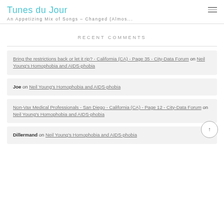Tunes du Jour
An Appetizing Mix of Songs – Changed (Almos...
RECENT COMMENTS
Bring the restrictions back or let it rip? - California (CA) - Page 35 - City-Data Forum on Neil Young's Homophobia and AIDS-phobia
Joe on Neil Young's Homophobia and AIDS-phobia
Non-Vax Medical Professionals - San Diego - California (CA) - Page 12 - City-Data Forum on Neil Young's Homophobia and AIDS-phobia
Dillermand on Neil Young's Homophobia and AIDS-phobia